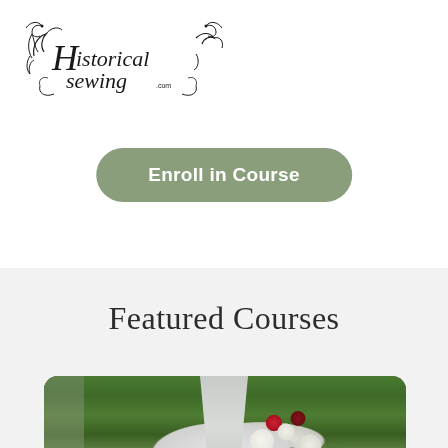[Figure (logo): Historical Sewing .com decorative script logo with flourishes]
Enroll in Course
Featured Courses
[Figure (photo): Outdoor photo of a white cone/bonnet hat decorated with white flowers, red berries, and green leaves against a green tree background]